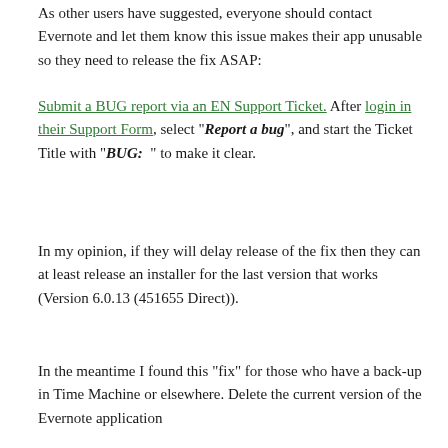As other users have suggested, everyone should contact Evernote and let them know this issue makes their app unusable so they need to release the fix ASAP:
Submit a BUG report via an EN Support Ticket. After login in their Support Form, select "Report a bug", and start the Ticket Title with "BUG:  " to make it clear.
In my opinion, if they will delay release of the fix then they can at least release an installer for the last version that works (Version 6.0.13 (451655 Direct)).
In the meantime I found this "fix" for those who have a back-up in Time Machine or elsewhere.  Delete the current version of the Evernote application